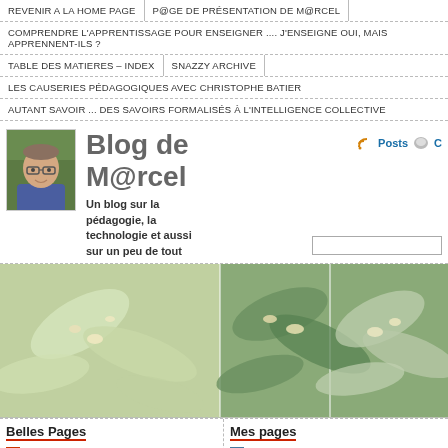REVENIR A LA HOME PAGE | P@GE DE PRÉSENTATION DE M@RCEL
COMPRENDRE L'APPRENTISSAGE POUR ENSEIGNER .... J'ENSEIGNE OUI, MAIS APPRENNENT-ILS ?
TABLE DES MATIERES – INDEX | SNAZZY ARCHIVE
LES CAUSERIES PÉDAGOGIQUES AVEC CHRISTOPHE BATIER
AUTANT SAVOIR ... DES SAVOIRS FORMALISÉS À L'INTELLIGENCE COLLECTIVE
Blog de M@rcel
Un blog sur la pédagogie, la technologie et aussi sur un peu de tout
[Figure (photo): Author portrait photo - man with glasses]
[Figure (photo): Hero banner with three panels of flowering plant macro photography in muted green and white tones]
Belles Pages
Mes pages
des savoirs formalisés à
Autant savoir ... des savoirs form...